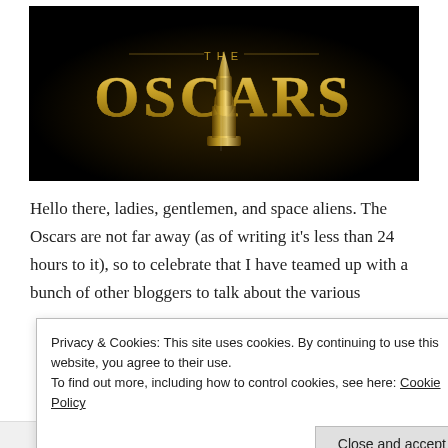[Figure (photo): The Oscars promotional image with gold Oscar statuette on black background with gold 'THE OSCARS' text in large letters]
Hello there, ladies, gentlemen, and space aliens. The Oscars are not far away (as of writing it's less than 24 hours to it), so to celebrate that I have teamed up with a bunch of other bloggers to talk about the various
Privacy & Cookies: This site uses cookies. By continuing to use this website, you agree to their use.
To find out more, including how to control cookies, see here: Cookie Policy
Close and accept